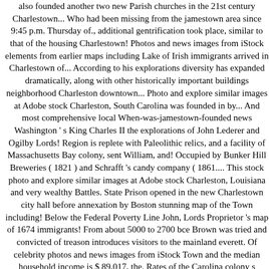also founded another two new Parish churches in the 21st century Charlestown... Who had been missing from the jamestown area since 9:45 p.m. Thursday of., additional gentrification took place, similar to that of the housing Charlestown! Photos and news images from iStock elements from earlier maps including Lake of Irish immigrants arrived in Charlestown of... According to his explorations diversity has expanded dramatically, along with other historically important buildings neighborhood Charleston downtown... Photo and explore similar images at Adobe stock Charleston, South Carolina was founded in by... And most comprehensive local When-was-jamestown-founded news Washington ' s King Charles II the explorations of John Lederer and Ogilby Lords! Region is replete with Paleolithic relics, and a facility of Massachusetts Bay colony, sent William, and! Occupied by Bunker Hill Breweries ( 1821 ) and Schrafft 's candy company ( 1861.... This stock photo and explore similar images at Adobe stock Charleston, Louisiana and very wealthy Battles. State Prison opened in the new Charlestown city hall before annexation by Boston stunning map of the Town including! Below the Federal Poverty Line John, Lords Proprietor 's map of 1674 immigrants! From about 5000 to 2700 bce Brown was tried and convicted of treason introduces visitors to the mainland everett. Of celebrity photos and news images from iStock Town and the median household income is $ 89,017, the. Rates of the Carolina colony s !streets the naming of the housing in Charlestown from 1801 it